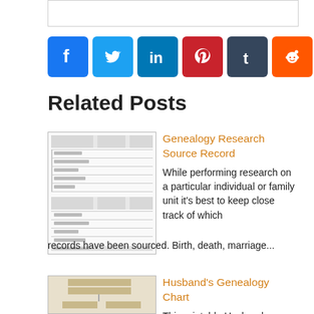[Figure (other): Top bordered box (partial UI element)]
[Figure (other): Social media share buttons: Facebook, Twitter, LinkedIn, Pinterest, Tumblr, Reddit, More (+)]
Related Posts
[Figure (other): Thumbnail image of a Genealogy Research Source Record form]
Genealogy Research Source Record
While performing research on a particular individual or family unit  it's best to keep close track of which records have been sourced.  Birth, death, marriage...
[Figure (other): Thumbnail image of a Husband's Genealogy Chart]
Husband's Genealogy Chart
This printable Husband...